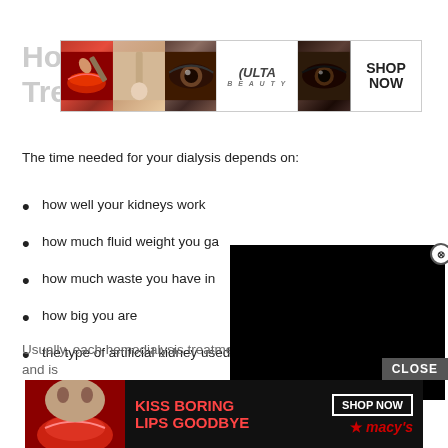How Long Do Treatments Last
[Figure (advertisement): Ulta Beauty advertisement banner with makeup images - lips, brush, eye, Ulta logo, eye, and SHOP NOW button]
The time needed for your dialysis depends on:
how well your kidneys work
how much fluid weight you ga
how much waste you have in
how big you are
the type of artificial kidney used
[Figure (screenshot): Black video player overlay with close button (X circle) in top right corner]
Usually, each hemodialysis treatment lasts abou hours and is
[Figure (advertisement): Macy's bottom advertisement: KISS BORING LIPS GOODBYE with SHOP NOW button and Macy's star logo on dark background]
CLOSE button overlay